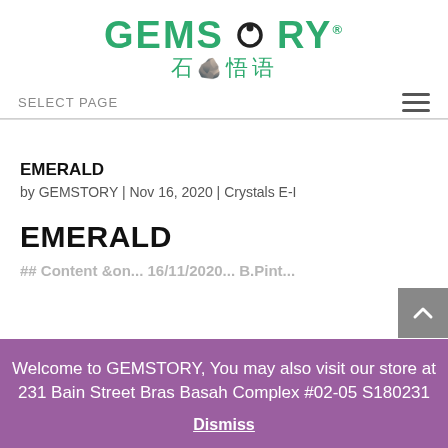GEMSTORY 石悟语
SELECT PAGE
EMERALD
by GEMSTORY | Nov 16, 2020 | Crystals E-I
EMERALD
Welcome to GEMSTORY, You may also visit our store at 231 Bain Street Bras Basah Complex #02-05 S180231
Dismiss